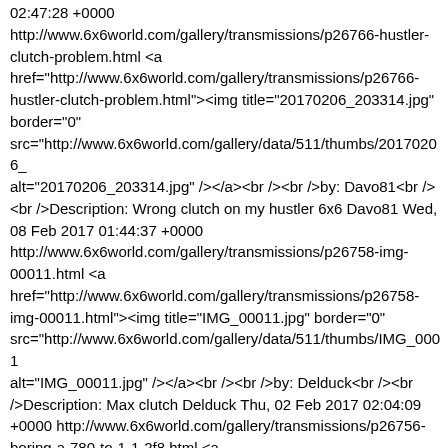02:47:28 +0000 http://www.6x6world.com/gallery/transmissions/p26766-hustler-clutch-problem.html <a href="http://www.6x6world.com/gallery/transmissions/p26766-hustler-clutch-problem.html"><img title="20170206_203314.jpg" border="0" src="http://www.6x6world.com/gallery/data/511/thumbs/20170206_ alt="20170206_203314.jpg" /></a><br /><br />by: Davo81<br /><br />Description: Wrong clutch on my hustler 6x6 Davo81 Wed, 08 Feb 2017 01:44:37 +0000 http://www.6x6world.com/gallery/transmissions/p26758-img-00011.html <a href="http://www.6x6world.com/gallery/transmissions/p26758-img-00011.html"><img title="IMG_00011.jpg" border="0" src="http://www.6x6world.com/gallery/data/511/thumbs/IMG_0001 alt="IMG_00011.jpg" /></a><br /><br />by: Delduck<br /><br />Description: Max clutch Delduck Thu, 02 Feb 2017 02:04:09 +0000 http://www.6x6world.com/gallery/transmissions/p26756-boring-a-780-to-1-1-2f8.html <a href="http://www.6x6world.com/gallery/transmissions/p26756-boring-a-780-to-1-1-2f8.html"><img title="100_1863.JPG" border="0" src="http://www.6x6world.com/gallery/data/511/thumbs/100_1863.J alt="100_1863.JPG" /></a><br /><br />by: JoeMeg<br /><br />Description: The shims are used to achieve the desired depth.<br /><br />1 comment JoeMeg Wed, 01 Feb 2017 09:13:14 +0000